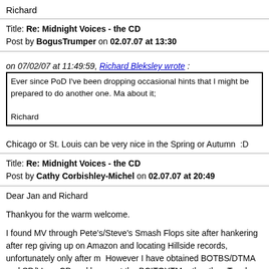Richard
Title: Re: Midnight Voices - the CD
Post by BogusTrumper on 02.07.07 at 13:30
on 07/02/07 at 11:49:59, Richard Bleksley wrote :
Ever since PoD I've been dropping occasional hints that I might be prepared to do another one. Ma about it;

Richard
Chicago or St. Louis can be very nice in the Spring or Autumn  :D
Title: Re: Midnight Voices - the CD
Post by Cathy Corbishley-Michel on 02.07.07 at 20:49
Dear Jan and Richard
Thankyou for the warm welcome.
I found MV through Pete's/Steve's Smash Flops site after hankering after rep giving up on Amazon and locating Hillside records, unfortunately only after m However I have obtained BOTBS/DTMA and SD/LL on CD and have put the BCITOYTM rather than Touch has a Memory.
Having bought the new CDs I am now getting familiar with the new songs, pa have a lot of resonances with the earlier material.